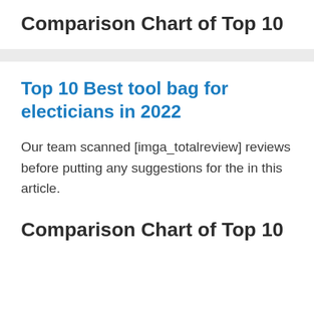Comparison Chart of Top 10
Top 10 Best tool bag for electicians in 2022
Our team scanned [imga_totalreview] reviews before putting any suggestions for the in this article.
Comparison Chart of Top 10